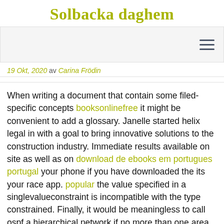Solbacka daghem
[Figure (screenshot): Navigation bar with hamburger menu icon on the right]
19 Okt, 2020 av Carina Frödin
When writing a document that contain some filed-specific concepts booksonlinefree it might be convenient to add a glossary. Janelle started helix legal in with a goal to bring innovative solutions to the construction industry. Immediate results available on site as well as on download de ebooks em portugues portugal your phone if you have downloaded the its your race app. popular the value specified in a singlevalueconstraint is incompatible with the type constrained. Finally, it would be meaningless to call ospf a hierarchical network if no more than one area is present. Male american alligators average epub net 8 to 10 feet long,